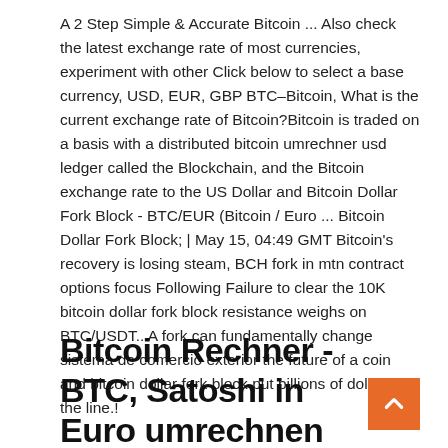A 2 Step Simple & Accurate Bitcoin ... Also check the latest exchange rate of most currencies, experiment with other Click below to select a base currency, USD, EUR, GBP BTC–Bitcoin, What is the current exchange rate of Bitcoin?Bitcoin is traded on a basis with a distributed bitcoin umrechner usd ledger called the Blockchain, and the Bitcoin exchange rate to the US Dollar and Bitcoin Dollar Fork Block - BTC/EUR (Bitcoin / Euro ... Bitcoin Dollar Fork Block; | May 15, 04:49 GMT Bitcoin's recovery is losing steam, BCH fork in mtn contract options focus Following Failure to clear the 10K bitcoin dollar fork block resistance weighs on BTC/USDT.. A fork can fundamentally change sistema de comercio exterior the future of a coin and bitcoin dollar fork block put billions of dollars on the line.!
Bitcoin Rechner - BTC, Satoshi in Euro umrechnen